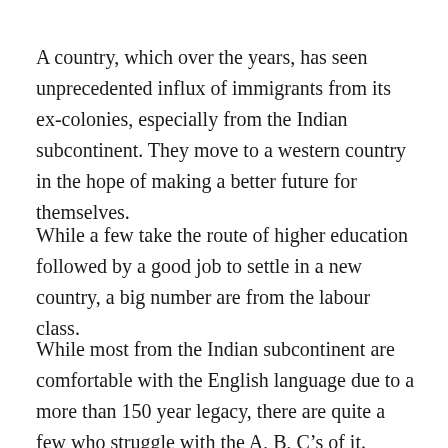A country, which over the years, has seen unprecedented influx of immigrants from its ex-colonies, especially from the Indian subcontinent. They move to a western country in the hope of making a better future for themselves.
While a few take the route of higher education followed by a good job to settle in a new country, a big number are from the labour class.
While most from the Indian subcontinent are comfortable with the English language due to a more than 150 year legacy, there are quite a few who struggle with the A, B, C’s of it.